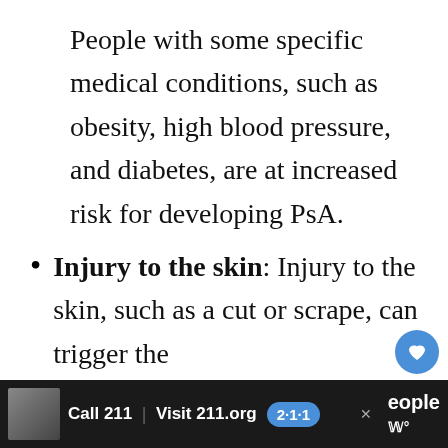People with some specific medical conditions, such as obesity, high blood pressure, and diabetes, are at increased risk for developing PsA.
Injury to the skin: Injury to the skin, such as a cut or scrape, can trigger the
Call 211 | Visit 211.org [2·1·1] Get Connected. Get Help.